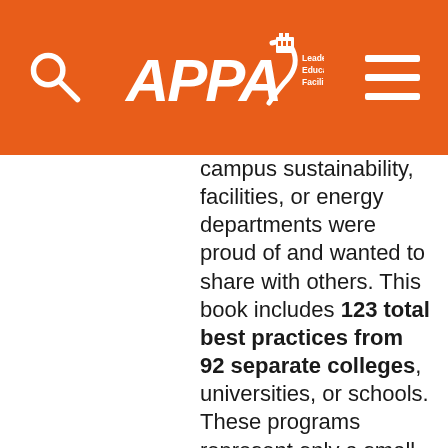APPA Leadership in Educational Facilities
campus sustainability, facilities, or energy departments were proud of and wanted to share with others. This book includes 123 total best practices from 92 separate colleges, universities, or schools. These programs represent only a small number of the depth, and breadth of advancements in campus sustainability and environmental stewardship. Clearly, there are